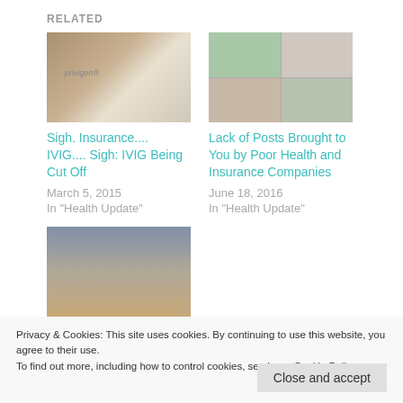RELATED
[Figure (photo): Close-up of a Privigen (Human) 10% liquid IV immunoglobulin medicine label/bottle]
[Figure (photo): Collage of four images showing a person and various scenes related to health]
Sigh. Insurance.... IVIG.... Sigh: IVIG Being Cut Off
March 5, 2015
In "Health Update"
Lack of Posts Brought to You by Poor Health and Insurance Companies
June 18, 2016
In "Health Update"
[Figure (photo): Selfie of a woman with blonde hair wearing dark sunglasses outdoors]
Privacy & Cookies: This site uses cookies. By continuing to use this website, you agree to their use.
To find out more, including how to control cookies, see here: Cookie Policy